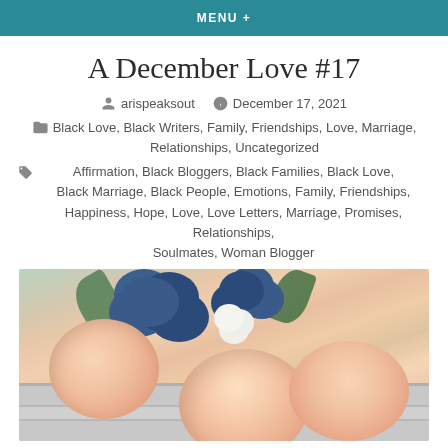MENU +
A December Love #17
arispeaksout   December 17, 2021
Black Love, Black Writers, Family, Friendships, Love, Marriage, Relationships, Uncategorized
Affirmation, Black Bloggers, Black Families, Black Love, Black Marriage, Black People, Emotions, Family, Friendships, Happiness, Hope, Love, Love Letters, Marriage, Promises, Relationships, Soulmates, Woman Blogger
[Figure (photo): A floral arrangement featuring peach/blush roses and blue flowers with white accents, placed on a gray mantelpiece or shelf.]